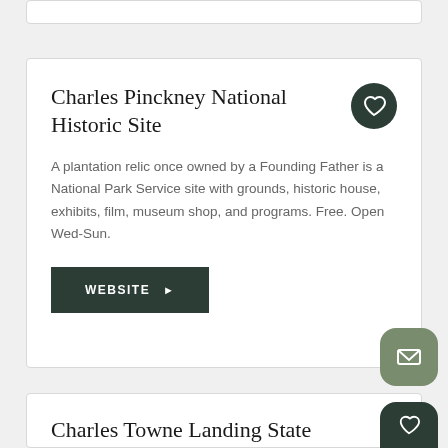Charles Pinckney National Historic Site
A plantation relic once owned by a Founding Father is a National Park Service site with grounds, historic house, exhibits, film, museum shop, and programs. Free. Open Wed-Sun.
WEBSITE ▶
Charles Towne Landing State